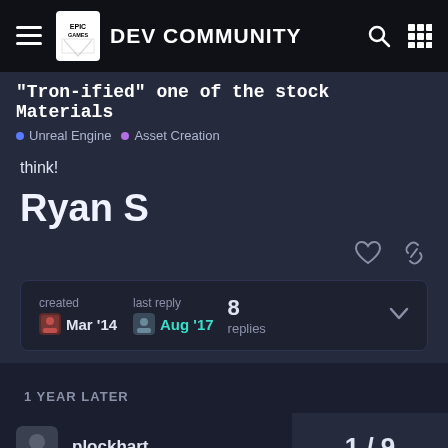EPIC GAMES DEV COMMUNITY
"Tron-ified" one of the stock Materials
Unreal Engine  •  Asset Creation
think!
Ryan S
created  Mar '14   last reply  Aug '17   8 replies
1 YEAR LATER
plockhart
1 / 9